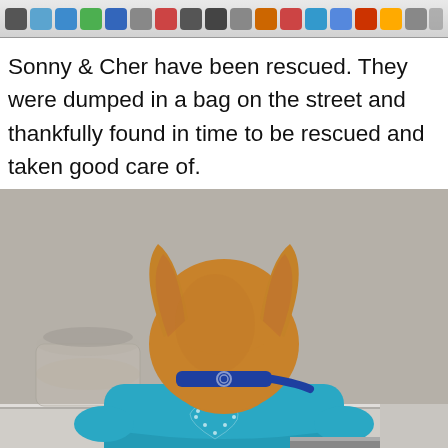[Figure (screenshot): macOS taskbar/dock showing various application icons including Apple menu, weather, maps, notes, App Store, and other system icons]
Sonny & Cher have been rescued. They were dumped in a bag on the street and thankfully found in time to be rescued and taken good care of.
[Figure (photo): A small dog (Chihuahua) wearing a teal/turquoise hoodie with rhinestone heart design and a blue collar, photographed from behind, sitting on a kitchen counter with a glass jar visible in the background.]